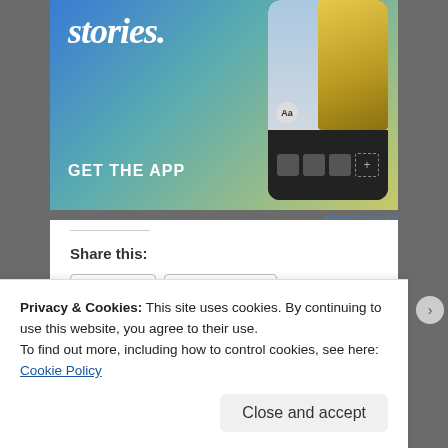[Figure (screenshot): App advertisement banner with gradient background (blue to yellow-green), large italic white text 'stories.', 'GET THE APP' button text, and a phone mockup showing a person in yellow jacket]
REPORT THIS AD
Share this:
Email
Facebook
Pinterest
Print
Twitter
Reddit
Loading...
Privacy & Cookies: This site uses cookies. By continuing to use this website, you agree to their use.
To find out more, including how to control cookies, see here: Cookie Policy
Close and accept